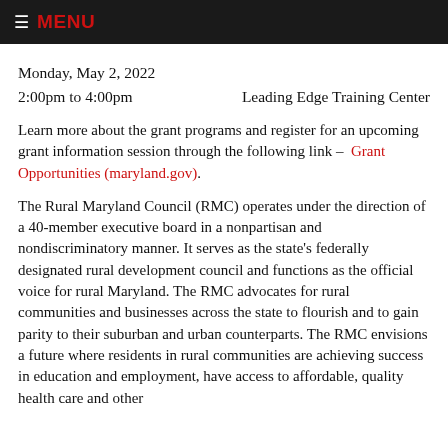≡ MENU
Monday, May 2, 2022
2:00pm to 4:00pm    Leading Edge Training Center
Learn more about the grant programs and register for an upcoming grant information session through the following link – Grant Opportunities (maryland.gov).
The Rural Maryland Council (RMC) operates under the direction of a 40-member executive board in a nonpartisan and nondiscriminatory manner. It serves as the state's federally designated rural development council and functions as the official voice for rural Maryland. The RMC advocates for rural communities and businesses across the state to flourish and to gain parity to their suburban and urban counterparts. The RMC envisions a future where residents in rural communities are achieving success in education and employment, have access to affordable, quality health care and other